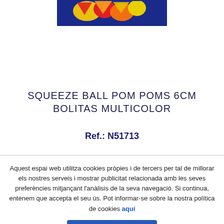[Figure (illustration): Colorful product image at top of page showing squeeze ball pom poms in blue, red, yellow, and orange colors on a dark blue background]
SQUEEZE BALL POM POMS 6CM BOLITAS MULTICOLOR
Ref.: N51713
Aquest espai web utilitza cookies pròpies i de tercers per tal de millorar els nostres serveis i mostrar publicitat relacionada amb les seves preferències mitjançant l'anàlisis de la seva navegació. Si continua, entenem que accepta el seu ús. Pot informar-se sobre la nostra política de cookies aquí
Accepto